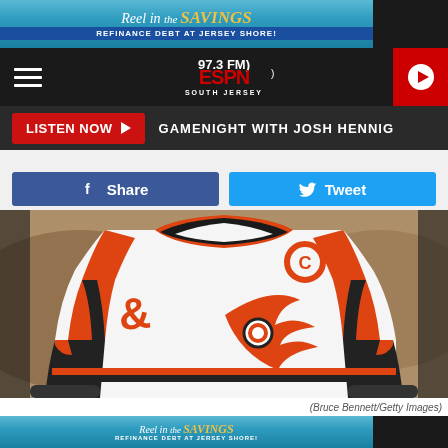[Figure (screenshot): Advertisement banner: Reel in the SAVINGS - Refinance Debt at Jersey Shore!]
97.3 ESPN South Jersey
LISTEN NOW ▶  GAMENIGHT WITH JOSH HENNIG
Share  Tweet
[Figure (photo): Philadelphia Flyers hockey player wearing white jersey with captain C patch and Flyers logo, close-up torso shot]
(Bruce Bennett/Getty Images)
[Figure (screenshot): Advertisement banner: Reel in the SAVINGS - Refinance Debt at Jersey Shore!]